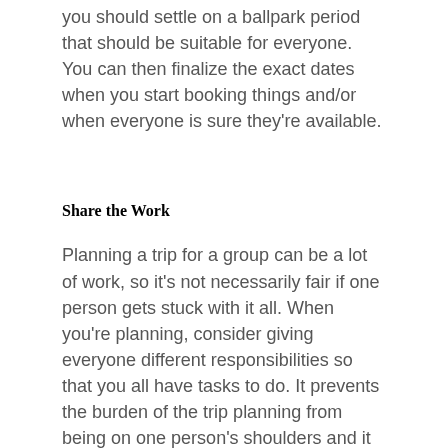you should settle on a ballpark period that should be suitable for everyone. You can then finalize the exact dates when you start booking things and/or when everyone is sure they're available.
Share the Work
Planning a trip for a group can be a lot of work, so it's not necessarily fair if one person gets stuck with it all. When you're planning, consider giving everyone different responsibilities so that you all have tasks to do. It prevents the burden of the trip planning from being on one person's shoulders and it allows everyone to be involved. Of course, it's helpful if there's one main person who takes the lead to ensure the planning is going well. They can check up on the progress of the trip